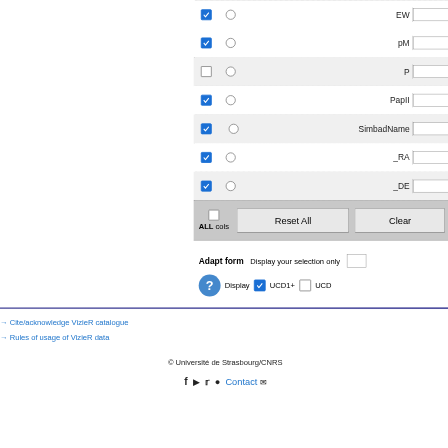[Figure (screenshot): VizieR catalogue column selection form showing checkboxes, radio buttons, and text input fields for columns: EW, pM, P, PapII, SimbadName, _RA, _DE. Each row has a blue checkbox (checked or unchecked), a radio button, a column name label, and a text input field. Below the rows are Reset All and Clear buttons with an ALL cols checkbox. Below that is an Adapt form section with Display your selection only input, and Display UCD1+ UCD checkboxes.]
→ Cite/acknowledge VizieR catalogue
→ Rules of usage of VizieR data
© Université de Strasbourg/CNRS
Contact